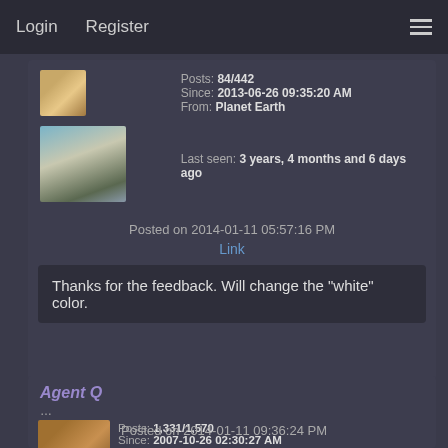Login   Register
Posts: 84/442
Since: 2013-06-26 09:35:20 AM
From: Planet Earth
Last seen: 3 years, 4 months and 6 days ago
Posted on 2014-01-11 05:57:16 PM
Link
Thanks for the feedback. Will change the "white" color.
Agent Q
...
Posts: 1,331/1,570
Since: 2007-10-26 02:30:27 AM
Last seen: 1 year, 11 months and 23 days ago
Posted on 2014-01-11 09:36:24 PM